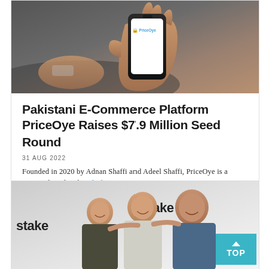[Figure (photo): A hand holding a smartphone displaying the PriceOye app logo on a white screen, taken against a blurred dark background.]
Pakistani E-Commerce Platform PriceOye Raises $7.9 Million Seed Round
31 AUG 2022
Founded in 2020 by Adnan Shaffi and Adeel Shaffi, PriceOye is a managed marketplace [...]
[Figure (photo): Three men smiling and posing together in front of a white background with 'stake' branding logos. A teal 'TOP' button overlay is visible in the bottom-right corner.]